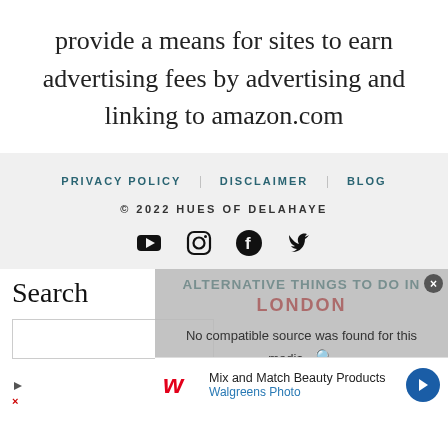provide a means for sites to earn advertising fees by advertising and linking to amazon.com
PRIVACY POLICY   DISCLAIMER   BLOG
© 2022 HUES OF DELAHAYE
Search
[Figure (screenshot): Video overlay showing 'No compatible source was found for this media.' with a close button and background image of alternative things to do in London]
[Figure (screenshot): Walgreens Photo advertisement: Mix and Match Beauty Products with navigation arrow]